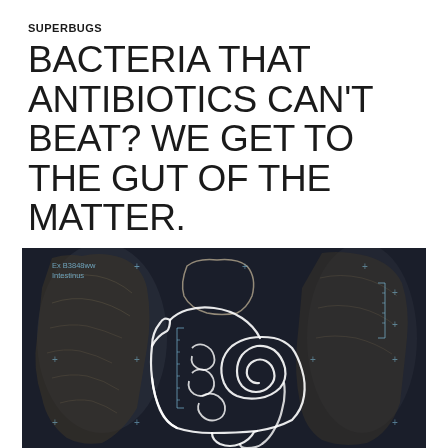SUPERBUGS
BACTERIA THAT ANTIBIOTICS CAN'T BEAT? WE GET TO THE GUT OF THE MATTER.
SEPTEMBER 12, 2014   BREVIS-ADMIN
[Figure (illustration): Dark background medical illustration of human intestines/gut anatomy shown as a white outline drawing on a dark navy/black background, resembling an x-ray or chalkboard-style diagram. Top left corner shows text 'Ex B3848ww Intestinus' with calibration marks and crosshairs scattered around the image.]